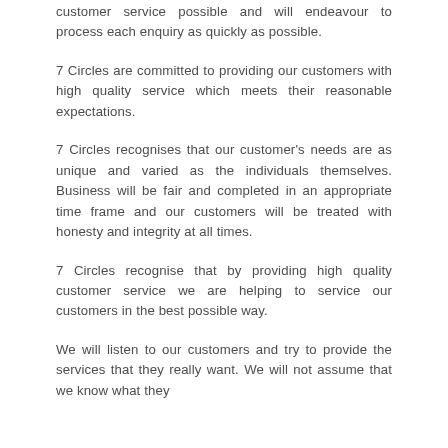customer service possible and will endeavour to process each enquiry as quickly as possible.
7 Circles are committed to providing our customers with high quality service which meets their reasonable expectations.
7 Circles recognises that our customer's needs are as unique and varied as the individuals themselves. Business will be fair and completed in an appropriate time frame and our customers will be treated with honesty and integrity at all times.
7 Circles recognise that by providing high quality customer service we are helping to service our customers in the best possible way.
We will listen to our customers and try to provide the services that they really want. We will not assume that we know what they